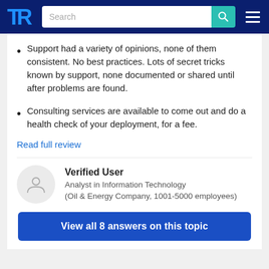TrustRadius — Search
Support had a variety of opinions, none of them consistent. No best practices. Lots of secret tricks known by support, none documented or shared until after problems are found.
Consulting services are available to come out and do a health check of your deployment, for a fee.
Read full review
Verified User
Analyst in Information Technology
(Oil & Energy Company, 1001-5000 employees)
View all 8 answers on this topic